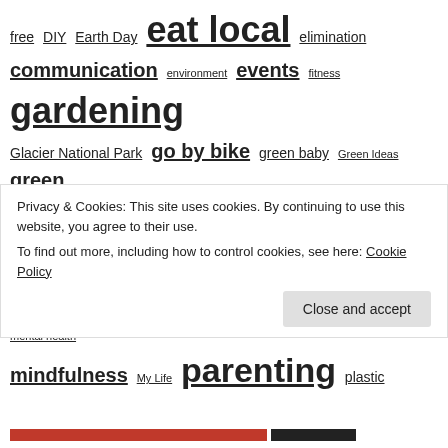[Figure (other): Tag cloud with various topic links in different font sizes including: free, DIY, Earth Day, eat local, elimination, communication, environment, events, fitness, gardening, Glacier National Park, go by bike, green baby, Green Ideas, green living, grow your own, hiking, holidays, house hunting, Iowa, Italy, local food, locavore, longtail, mental health, mindfulness, My Life, parenting, plastic, Portland, pregnancy, recipes, reduce, restaurants, reuse, saint louis, sickness, Smoky Mountains, st. louis, StL, summer]
Privacy & Cookies: This site uses cookies. By continuing to use this website, you agree to their use.
To find out more, including how to control cookies, see here: Cookie Policy